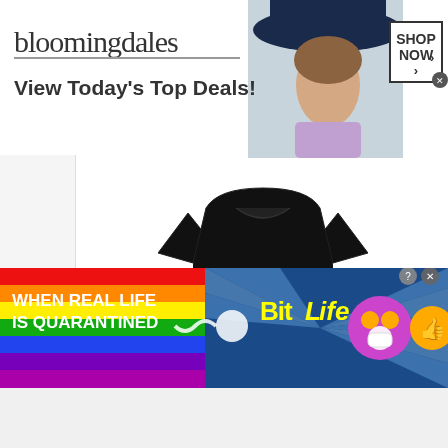[Figure (screenshot): Bloomingdale's advertisement banner showing logo, 'View Today's Top Deals!' text, a woman in a hat, and 'SHOP NOW >' button]
[Figure (photo): Just Cavalli Men's black T-Shirt with graphic logo design, size Large]
Just Cavalli Men's T-Shirt, Black, L
[Figure (screenshot): Amazon 'View Product' button with Amazon logo]
[Figure (screenshot): BitLife advertisement: 'WHEN REAL LIFE IS QUARANTINED' with BitLife logo and emoji characters on rainbow background]